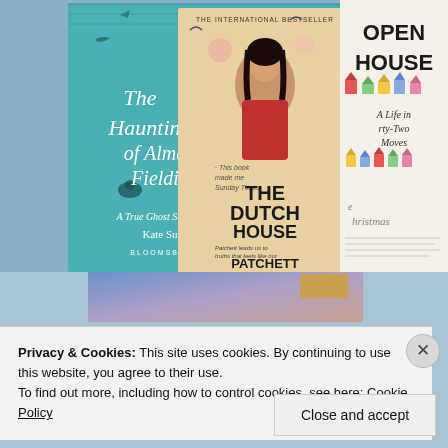[Figure (photo): Three book covers arranged on a blue fabric background: 'The Haunting of Alma Fielding - A True Ghost Story by Kate Summers' (teal cover), 'The Dutch House by Ann Patchett' (center, showing a girl on cover, labeled 'The International Bestseller'), and 'Open House: A Life in Forty-Two Moves' (white cover with illustrated houses). Partial text visible includes 'christmas' and 'e'.]
[Figure (photo): Partial view of another book or image with blue-purple-pink gradient colors and a tan/gold rectangular block visible at top right.]
Privacy & Cookies: This site uses cookies. By continuing to use this website, you agree to their use.
To find out more, including how to control cookies, see here: Cookie Policy
Close and accept